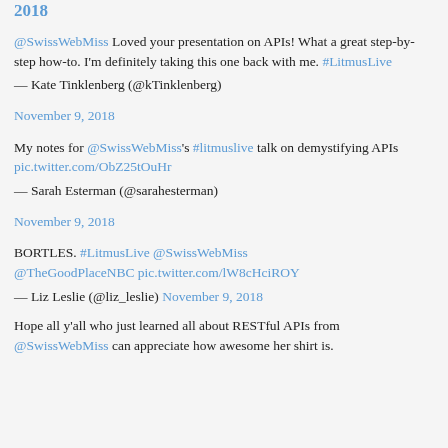2018 [link at top, truncated]
@SwissWebMiss Loved your presentation on APIs! What a great step-by-step how-to. I'm definitely taking this one back with me. #LitmusLive
— Kate Tinklenberg (@kTinklenberg)
November 9, 2018
My notes for @SwissWebMiss's #litmuslive talk on demystifying APIs pic.twitter.com/ObZ25tOuHr
— Sarah Esterman (@sarahesterman)
November 9, 2018
BORTLES. #LitmusLive @SwissWebMiss @TheGoodPlaceNBC pic.twitter.com/lW8cHciROY
— Liz Leslie (@liz_leslie) November 9, 2018
Hope all y'all who just learned all about RESTful APIs from @SwissWebMiss can appreciate how awesome her shirt is.